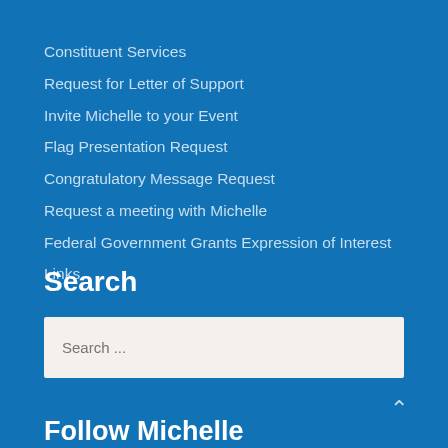Constituent Services
Request for Letter of Support
Invite Michelle to your Event
Flag Presentation Request
Congratulatory Message Request
Request a meeting with Michelle
Federal Government Grants Expression of Interest
Links
Search
Search ...
Follow Michelle